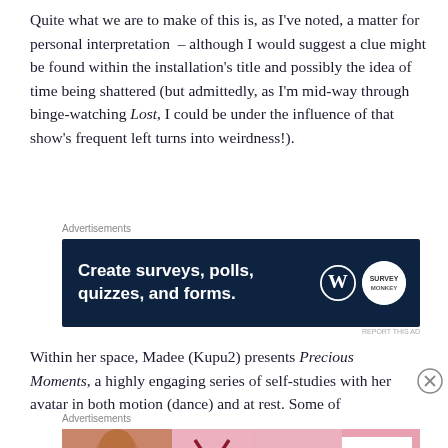Quite what we are to make of this is, as I've noted, a matter for personal interpretation – although I would suggest a clue might be found within the installation's title and possibly the idea of time being shattered (but admittedly, as I'm mid-way through binge-watching Lost, I could be under the influence of that show's frequent left turns into weirdness!).
Advertisements
[Figure (other): Dark navy blue advertisement banner: 'Create surveys, polls, quizzes, and forms.' with WordPress logo and Survey Monkey-style logo on the right.]
Within her space, Madee (Kupu2) presents Precious Moments, a highly engaging series of self-studies with her avatar in both motion (dance) and at rest. Some of the...
Advertisements
[Figure (other): Victoria's Secret advertisement with a model, VS logo, text 'SHOP THE COLLECTION' and a 'SHOP NOW' button.]